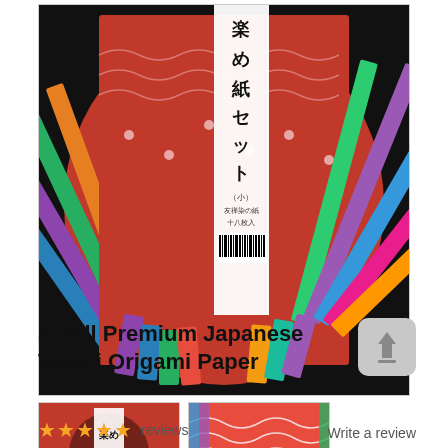[Figure (photo): Product photo of Small Premium Japanese Washi Origami Paper set. A fan-shaped spread of colorful patterned Japanese washi papers fanned out on a black background. The papers display traditional Japanese patterns in red, blue, purple, green, and pink. A white vertical label strip with Japanese text and a barcode is visible in the center.]
[Figure (photo): Thumbnail 1: Small square image of the same washi origami paper product showing a circular fan arrangement of the papers from a different angle.]
[Figure (photo): Thumbnail 2: Small image showing a closeup of the red patterned washi papers fanned out with the colorful edges visible.]
Small Premium Japanese Washi Origami Paper
[Figure (other): Upload/share icon — a rounded square button with an upward arrow symbol, in light gray.]
★★★★★  reviews
Write a review